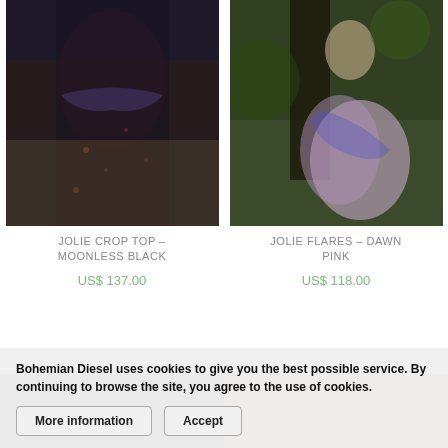[Figure (photo): Woman wearing a dark floral Jolie Crop Top in Moonless Black, standing in a field]
[Figure (photo): Woman wearing Jolie Flares in Dawn Pink floral pattern, leaning against a tree]
JOLIE CROP TOP – MOONLESS BLACK
JOLIE FLARES – DAWN PINK
US$ 137.00
US$ 118.00
Bohemian Diesel uses cookies to give you the best possible service. By continuing to browse the site, you agree to the use of cookies.
More information
Accept
[Figure (photo): Partial view of additional product photos at the bottom of the page]